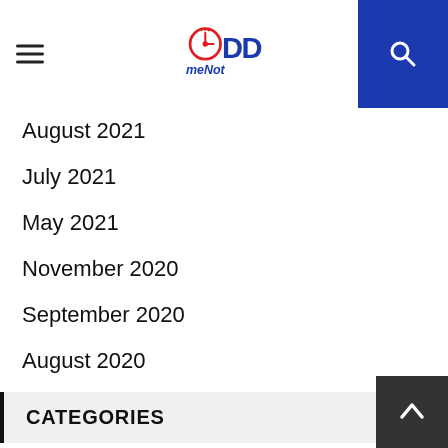OddmeNot logo with hamburger menu and search button
August 2021
July 2021
May 2021
November 2020
September 2020
August 2020
CATEGORIES
Awesome India
Business
Fashion
Health
Lifestyle